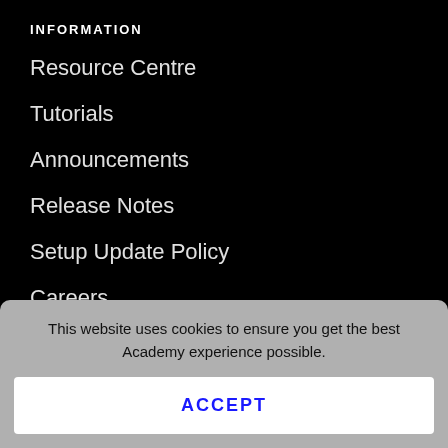INFORMATION
Resource Centre
Tutorials
Announcements
Release Notes
Setup Update Policy
Careers
RESOURCES
ACC Lap Times
Onboard Videos
Fastest GT3 cars in ACC
Guide to ACC
This website uses cookies to ensure you get the best Academy experience possible.
ACCEPT